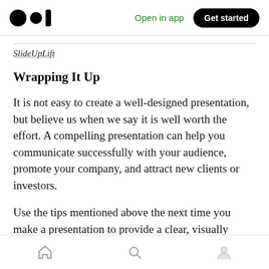Open in app | Get started
SlideUpLift
Wrapping It Up
It is not easy to create a well-designed presentation, but believe us when we say it is well worth the effort. A compelling presentation can help you communicate successfully with your audience, promote your company, and attract new clients or investors.
Use the tips mentioned above the next time you make a presentation to provide a clear, visually
Home | Search | Profile